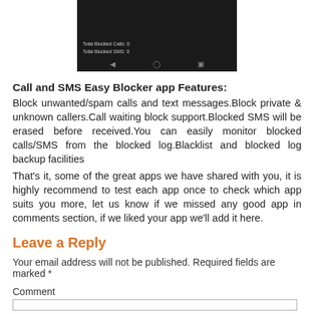[Figure (screenshot): Android phone screenshot showing 'Total Blocked Calls: 0' and 'Total Blocked SMS: 0' with navigation bar at bottom on dark background]
Call and SMS Easy Blocker app Features:
Block unwanted/spam calls and text messages.Block private & unknown callers.Call waiting block support.Blocked SMS will be erased before received.You can easily monitor blocked calls/SMS from the blocked log.Blacklist and blocked log backup facilities
That's it, some of the great apps we have shared with you, it is highly recommend to test each app once to check which app suits you more, let us know if we missed any good app in comments section, if we liked your app we'll add it here.
Leave a Reply
Your email address will not be published. Required fields are marked *
Comment